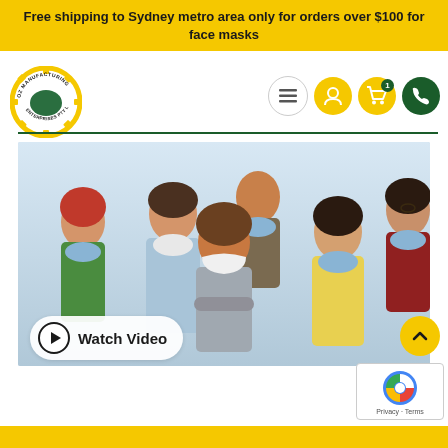Free shipping to Sydney metro area only for orders over $100 for face masks
[Figure (logo): OZ Manufacturing Enterprises Pty Ltd circular gear logo with Australia map]
[Figure (photo): Six people wearing face masks (blue surgical masks and white KN95 masks) posed together against a light blue/grey background]
Watch Video
Privacy · Terms